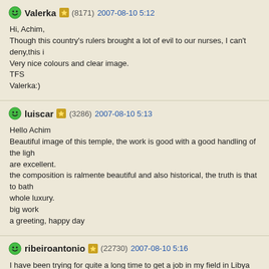Valerka (8171) 2007-08-10 5:12
Hi, Achim,
Though this country's rulers brought a lot of evil to our nurses, I can't deny,this i
Very nice colours and clear image.
TFS
Valerka:)
luiscar (3286) 2007-08-10 5:13
Hello Achim
Beautiful image of this temple, the work is good with a good handling of the ligh
are excellent.
the composition is ralmente beautiful and also historical, the truth is that to bath
whole luxury.
big work
a greeting, happy day
ribeiroantonio (22730) 2007-08-10 5:16
I have been trying for quite a long time to get a job in my field in Libya and/or Tu
companies prefer to hire from Europe because of costs. This is to say that I reab
wonderful temples. The view with the Mediterranean Sea behind the temple is m
demonstrates that the people of the time also cared for their spirit and sens...